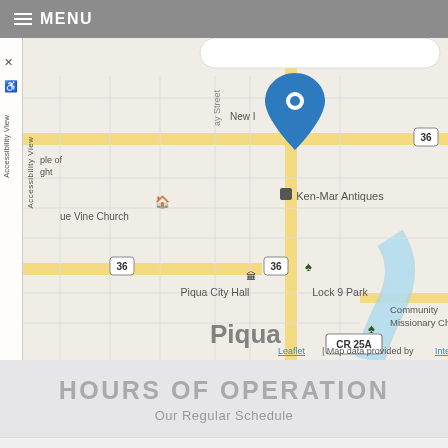≡ MENU
[Figure (map): Street map of Piqua, Ohio showing East Ash Street, Piqua City Hall, Ken-Mar Antiques, Lock 9 Park, Roosevelt Park, CR 25A, E Main St., and a blue location pin marker near East Ash Street. Route 36 marked. River visible. Leaflet map data provided by Internet Brands.]
HOURS OF OPERATION
Our Regular Schedule